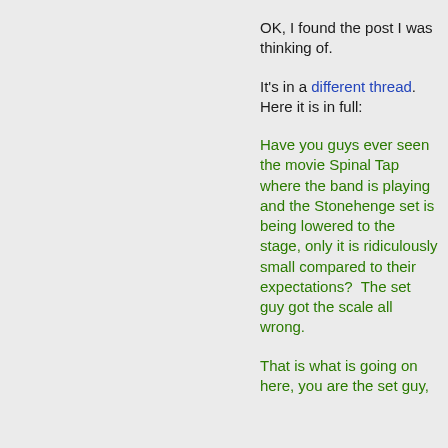OK, I found the post I was thinking of.
It's in a different thread. Here it is in full:
Have you guys ever seen the movie Spinal Tap where the band is playing and the Stonehenge set is being lowered to the stage, only it is ridiculously small compared to their expectations?  The set guy got the scale all wrong.
That is what is going on here, you are the set guy,